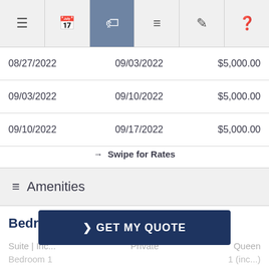Navigation bar with icons: menu, calendar, tag (active), list, edit, help
| 08/27/2022 | 09/03/2022 | $5,000.00 |
| 09/03/2022 | 09/10/2022 | $5,000.00 |
| 09/10/2022 | 09/17/2022 | $5,000.00 |
→ Swipe for Rates
≡ Amenities
Bedroom Details
Suite | Inc...   Private  Queen
Bedroom 1                 1 (inc...)